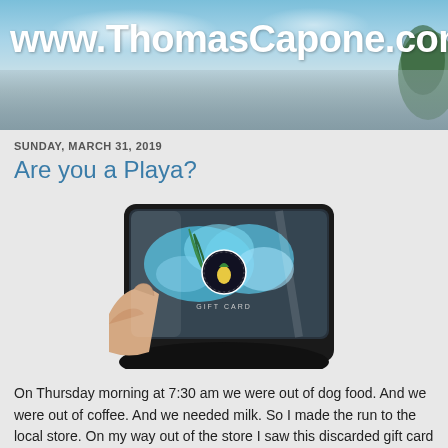www.ThomasCapone.com
SUNDAY, MARCH 31, 2019
Are you a Playa?
[Figure (photo): A hand holding a transparent/clear gift card holder with a blue pineapple design and circular logo, photographed close-up against a dark background.]
On Thursday morning at 7:30 am we were out of dog food. And we were out of coffee. And we needed milk. So I made the run to the local store. On my way out of the store I saw this discarded gift card holder. It was on the sidewalk, just a few feet from a trash can. I picked it up to throw it away - and then I looked at it.